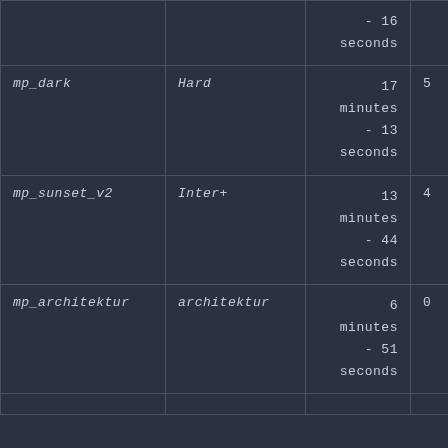| Map | Difficulty | Time |  |
| --- | --- | --- | --- |
|  |  | - 16
seconds |  |
| mp_dark | Hard | 17 minutes
- 13
seconds | 5 |
| mp_sunset_v2 | Inter+ | 13 minutes
- 44
seconds | 4 |
| mp_architektur | architektur | 6 minutes
- 51
seconds | 0 |